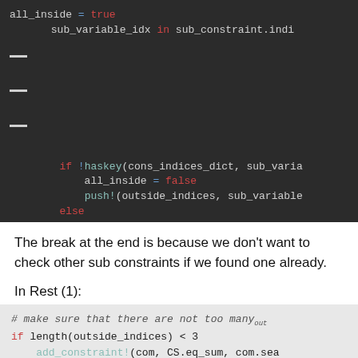[Figure (screenshot): Dark-themed code block showing Julia/Ruby-like code with syntax highlighting. Lines include: all_inside = true, for loop over sub_variable_idx in sub_constraint.indi, if !haskey(cons_indices_dict, sub_variable..., all_inside = false, push!(outside_indices, sub_variable..., else, delete!(cons_indices_dict, sub_vari..., end, end, if all_inside, in_sum += sub_constraint.rhs, end, break]
The break at the end is because we don't want to check other sub constraints if we found one already.
In Rest (1):
[Figure (screenshot): Light grey code block with syntax-highlighted code: # make sure that there are not too many out, if length(outside_indices) < 3, add_constraint!(com, CS.eq_sum, com.sea]